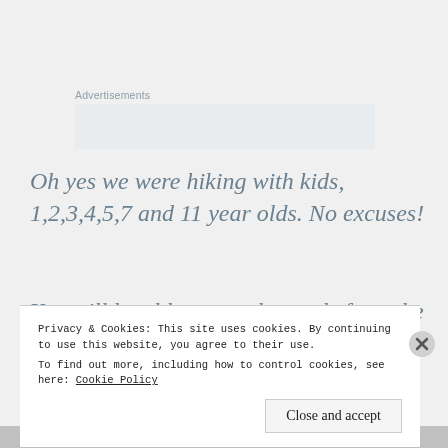Advertisements
Oh yes we were hiking with kids, 1,2,3,4,5,7 and 11 year olds. No excuses!
You will be able to see the pools from the trail, it is a bit of an incline going down and
Privacy & Cookies: This site uses cookies. By continuing to use this website, you agree to their use.
To find out more, including how to control cookies, see here: Cookie Policy
Close and accept